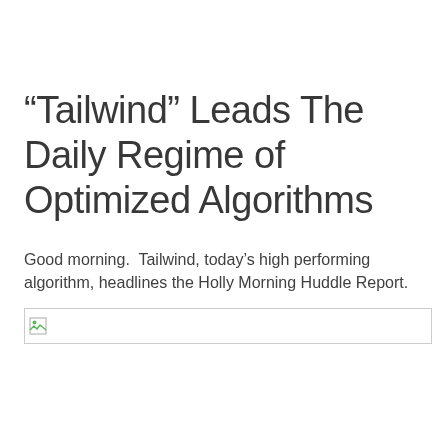“Tailwind” Leads The Daily Regime of Optimized Algorithms
Good morning.  Tailwind, today’s high performing algorithm, headlines the Holly Morning Huddle Report.
[Figure (other): Broken/missing image placeholder with a small image icon and a horizontal border box]